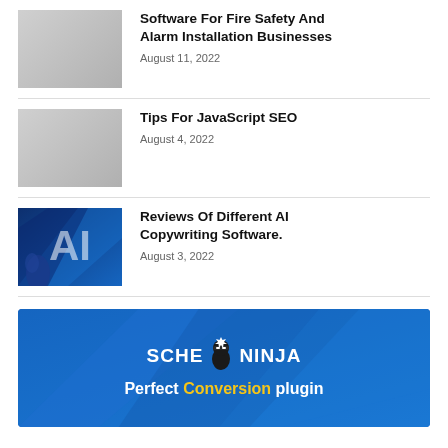[Figure (photo): Gray placeholder thumbnail image]
Software For Fire Safety And Alarm Installation Businesses
August 11, 2022
[Figure (photo): Gray placeholder thumbnail image]
Tips For JavaScript SEO
August 4, 2022
[Figure (photo): AI themed blue image with robot hand and large AI text]
Reviews Of Different AI Copywriting Software.
August 3, 2022
[Figure (logo): SchemaNinja banner — Perfect Conversion plugin advertisement. Blue background with ninja logo character.]